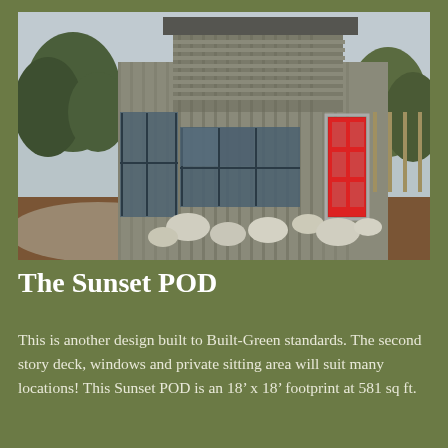[Figure (photo): Exterior photo of the Sunset POD building — a modern two-story structure with vertical metal/wood siding in gray tones, large glass windows and sliding glass doors on the ground floor, horizontal slatted wood railings on the upper deck, a bright red front door on the right side, surrounded by rocks and mulched landscaping with trees in background]
The Sunset POD
This is another design built to Built-Green standards. The second story deck, windows and private sitting area will suit many locations! This Sunset POD is an 18' x 18' footprint at 581 sq ft.